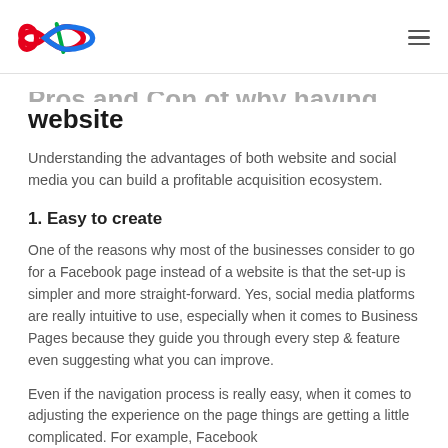[Logo] [Hamburger menu]
Pros and Con of why having your own website
Understanding the advantages of both website and social media you can build a profitable acquisition ecosystem.
1. Easy to create
One of the reasons why most of the businesses consider to go for a Facebook page instead of a website is that the set-up is simpler and more straight-forward. Yes, social media platforms are really intuitive to use, especially when it comes to Business Pages because they guide you through every step & feature even suggesting what you can improve.
Even if the navigation process is really easy, when it comes to adjusting the experience on the page things are getting a little complicated. For example, Facebook